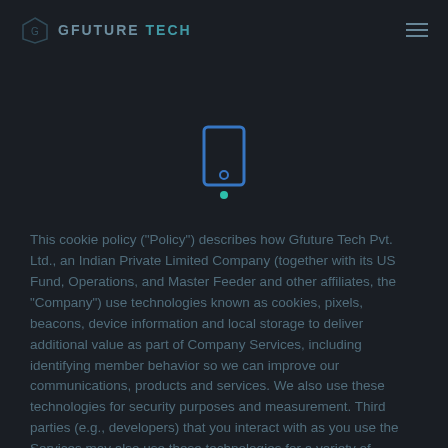GFUTURE TECH
[Figure (logo): GFuture Tech logo with icon on dark background]
[Figure (illustration): Blue outlined tablet/device icon with teal dot, centered loading state overlay]
This cookie policy ("Policy") describes how Gfuture Tech Pvt. Ltd., an Indian Private Limited Company (together with its US Fund, Operations, and Master Feeder and other affiliates, the "Company") use technologies known as cookies, pixels, beacons, device information and local storage to deliver additional value as part of Company Services, including identifying member behavior so we can improve our communications, products and services. We also use these technologies for security purposes and measurement. Third parties (e.g., developers) that you interact with as you use the Services may also use these technologies for a variety of purposes. We aim to be transparent about how these technologies are useful to you, others and us. Reachable